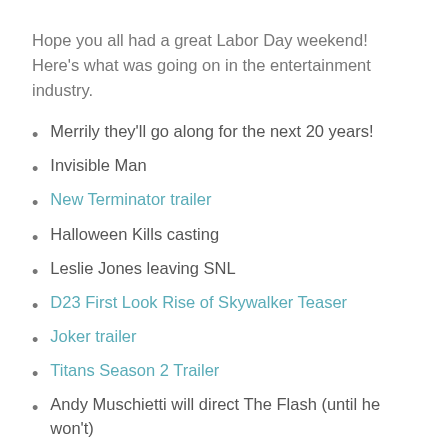Hope you all had a great Labor Day weekend!  Here's what was going on in the entertainment industry.
Merrily they'll go along for the next 20 years!
Invisible Man
New Terminator trailer
Halloween Kills casting
Leslie Jones leaving SNL
D23 First Look Rise of Skywalker Teaser
Joker trailer
Titans Season 2 Trailer
Andy Muschietti will direct The Flash (until he won't)
New Mutants won't connect to the other Fox X-films (if it comes out at all)